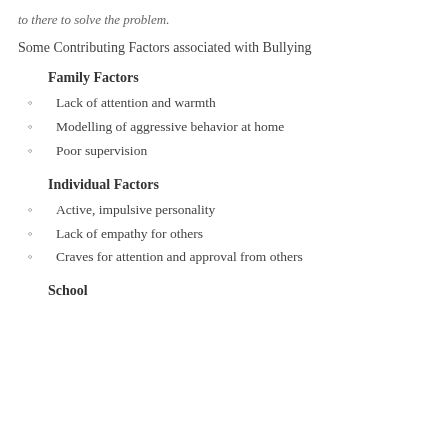to there to solve the problem.
Some Contributing Factors associated with Bullying
Family Factors
Lack of attention and warmth
Modelling of aggressive behavior at home
Poor supervision
Individual Factors
Active, impulsive personality
Lack of empathy for others
Craves for attention and approval from others
School